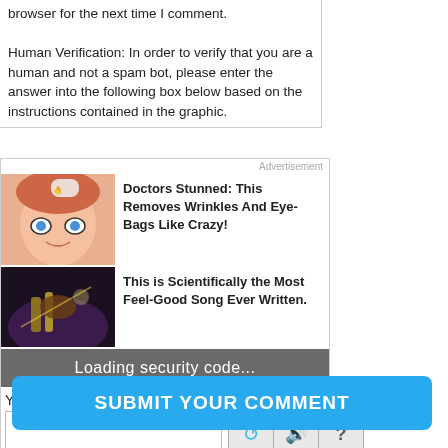browser for the next time I comment.
Human Verification: In order to verify that you are a human and not a spam bot, please enter the answer into the following box below based on the instructions contained in the graphic.
[Figure (screenshot): Advertisement box with two ad items: 'Doctors Stunned: This Removes Wrinkles And Eye-Bags Like Crazy!' with illustrated face image, and 'This is Scientifically the Most Feel-Good Song Ever Written.' with music performance image. Below ads is a gray loading bar saying 'Loading security code...' followed by a Your Answer input field and Solve Media logo with icon buttons.]
SUBMIT YOUR COMMENT